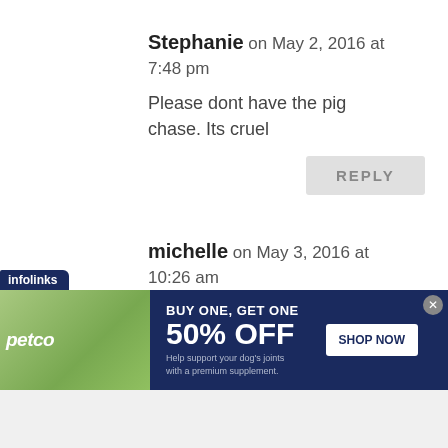Stephanie on May 2, 2016 at 7:48 pm
Please dont have the pig chase. Its cruel
REPLY
michelle on May 3, 2016 at 10:26 am
I will never go to an event where an animal is touchered for any reason. They run for a
[Figure (screenshot): Petco advertisement banner: BUY ONE, GET ONE 50% OFF. Help support your dog's joints with a premium supplement. SHOP NOW button. Infolinks tag visible.]